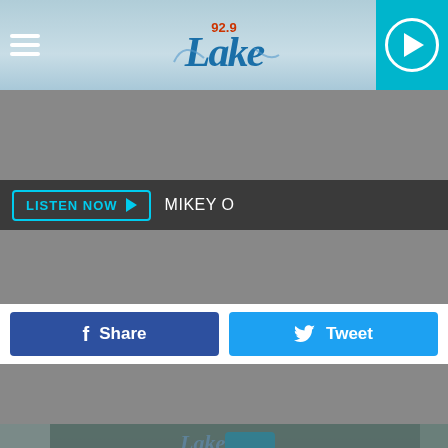[Figure (screenshot): 92.9 The Lake radio station mobile app page header with logo and play button]
LISTEN NOW  MIKEY O
Share
Tweet
[Figure (photo): Background image with teal/dark face overlay and white overlay card]
DOWNLOAD THE 92.9 THE LAKE MOBILE APP
GET OUR FREE MOBILE APP
Also listen on:  amazon alexa